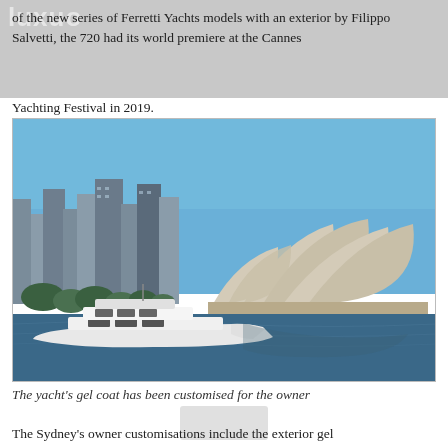of the new series of Ferretti Yachts models with an exterior by Filippo Salvetti, the 720 had its world premiere at the Cannes
Yachting Festival in 2019.
[Figure (photo): A white luxury motor yacht in the foreground on blue water, with the Sydney Opera House and Sydney CBD skyline in the background under a clear blue sky.]
The yacht's gel coat has been customised for the owner
The Sydney's owner customisations include the exterior gel